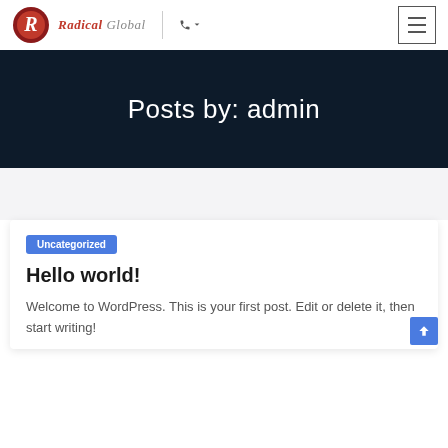Radical Global | phone icon | hamburger menu
Posts by: admin
Uncategorized
Hello world!
Welcome to WordPress. This is your first post. Edit or delete it, then start writing!